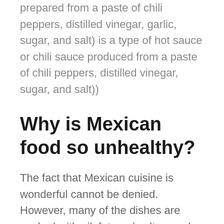prepared from a paste of chili peppers, distilled vinegar, garlic, sugar, and salt) is a type of hot sauce or chili sauce produced from a paste of chili peppers, distilled vinegar, sugar, and salt))
Why is Mexican food so unhealthy?
The fact that Mexican cuisine is wonderful cannot be denied. However, many of the dishes are cooked with oil, fat, and salt — and then topped with cheese and sour cream to make them extra tasty. In a single meal, you can consume more calories, saturated fat, and sodium than